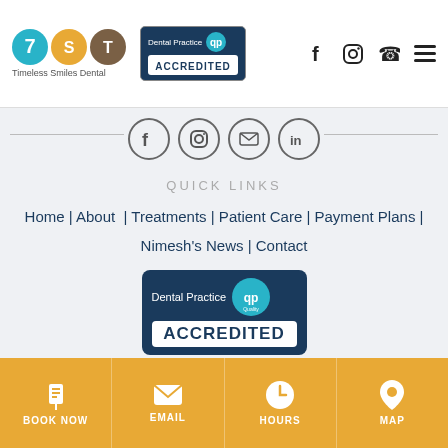Timeless Smiles Dental — Navigation bar with logo, accreditation badge, social icons, and menu
[Figure (logo): Timeless Smiles Dental logo with three colored circles (blue, gold, brown) and text below]
[Figure (logo): Dental Practice ACCREDITED badge with QIP logo]
[Figure (infographic): Social media icons row: Facebook, Instagram, Email, LinkedIn in circles]
QUICK LINKS
Home | About | Treatments | Patient Care | Payment Plans | Nimesh's News | Contact
[Figure (logo): Dental Practice ACCREDITED badge large version]
TREATMENTS
BOOK NOW | EMAIL | HOURS | MAP